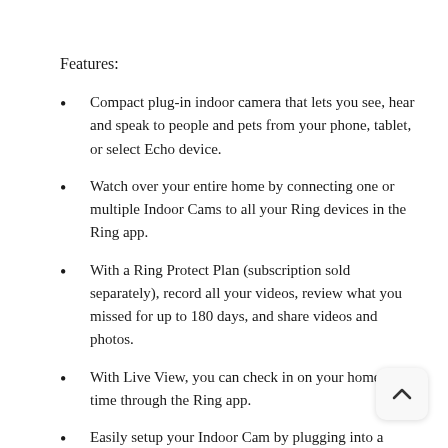Features:
Compact plug-in indoor camera that lets you see, hear and speak to people and pets from your phone, tablet, or select Echo device.
Watch over your entire home by connecting one or multiple Indoor Cams to all your Ring devices in the Ring app.
With a Ring Protect Plan (subscription sold separately), record all your videos, review what you missed for up to 180 days, and share videos and photos.
With Live View, you can check in on your home any time through the Ring app.
Easily setup your Indoor Cam by plugging into a standard outlet and connecting to Wi-Fi.
Place on a flat surface or mount to a wall with the vers mounting bracket.